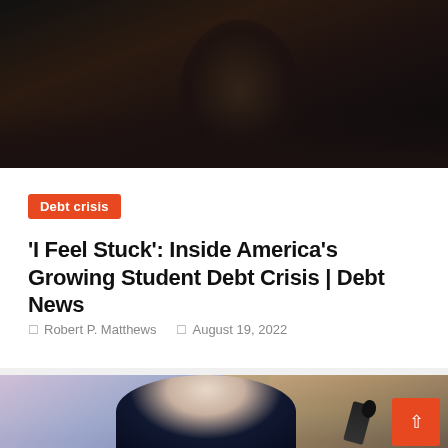[Figure (photo): Dark background photo, partially visible, showing a person in low light]
Debt crisis
'I Feel Stuck': Inside America's Growing Student Debt Crisis | Debt News
Robert P. Matthews   August 19, 2022
[Figure (photo): Photo of an older woman with white hair in a dark jacket, seated at what appears to be a hearing or press conference with a microphone visible]